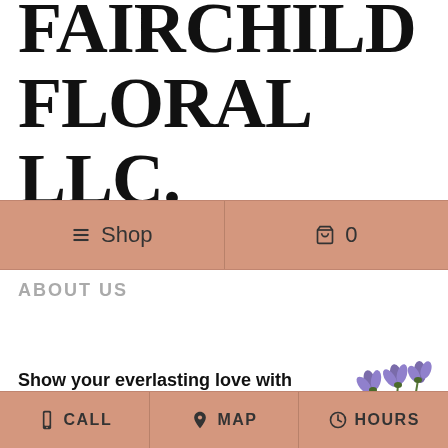FAIRCHILD FLORAL LLC.
≡ Shop    🛒 0
ABOUT US
Show your everlasting love with flowers from Fairchild Florist!
[Figure (illustration): Purple iris flowers in bottom right corner]
CALL   MAP   HOURS